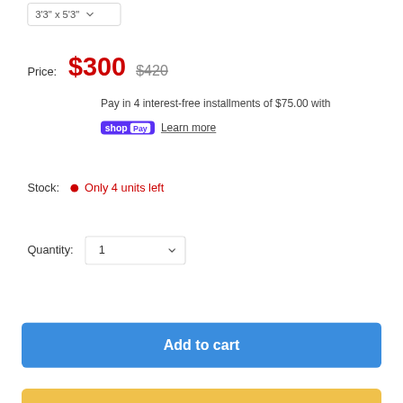3'3" x 5'3"
Price: $300  $420
Pay in 4 interest-free installments of $75.00 with
shop Pay  Learn more
Stock: Only 4 units left
Quantity: 1
Add to cart
Buy with amazon pay
More payment options